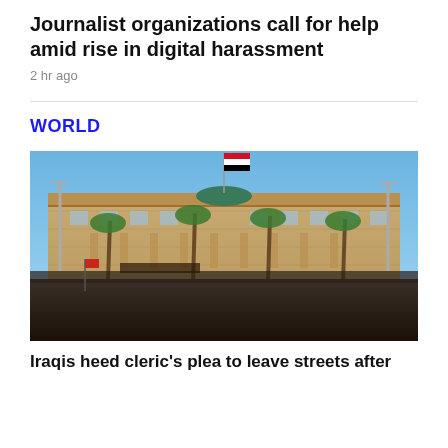Journalist organizations call for help amid rise in digital harassment
2 hr ago
WORLD
[Figure (photo): Crowd of people gathered outside a large tan government building with palm trees and a flagpole with Iraqi flag, blue sky in background.]
Iraqis heed cleric's plea to leave streets after